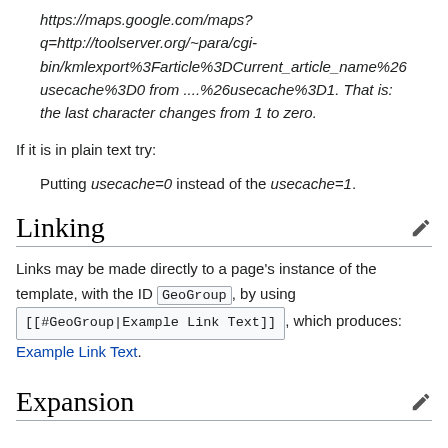https://maps.google.com/maps?q=http://toolserver.org/~para/cgi-bin/kmlexport%3Farticle%3DCurrent_article_name%26usecache%3D0 from ....%26usecache%3D1. That is: the last character changes from 1 to zero.
If it is in plain text try:
Putting usecache=0 instead of the usecache=1.
Linking
Links may be made directly to a page's instance of the template, with the ID GeoGroup, by using [[#GeoGroup|Example Link Text]], which produces: Example Link Text.
Expansion